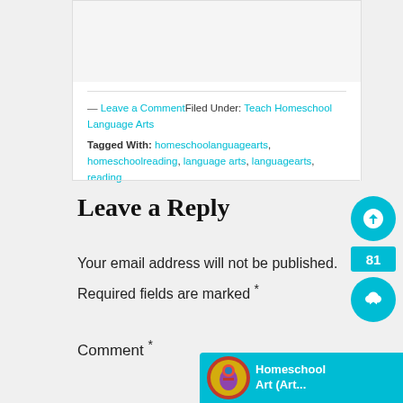[Figure (screenshot): Top portion of a blog post card with image area, partially visible at top of page]
— Leave a Comment Filed Under: Teach Homeschool Language Arts
Tagged With: homeschoolanguagearts, homeschoolreading, language arts, languagearts, reading
Leave a Reply
Your email address will not be published.
Required fields are marked *
Comment *